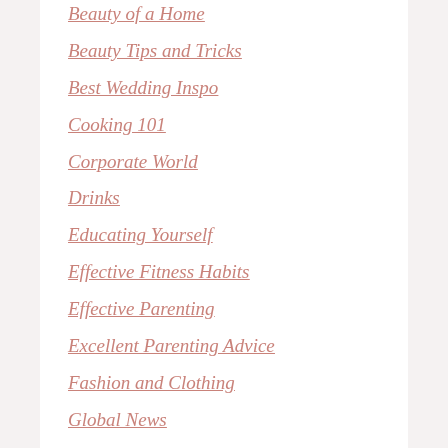Beauty of a Home
Beauty Tips and Tricks
Best Wedding Inspo
Cooking 101
Corporate World
Drinks
Educating Yourself
Effective Fitness Habits
Effective Parenting
Excellent Parenting Advice
Fashion and Clothing
Global News
Grooming and Care for Pets
Healthy and Well
Hollywood Living